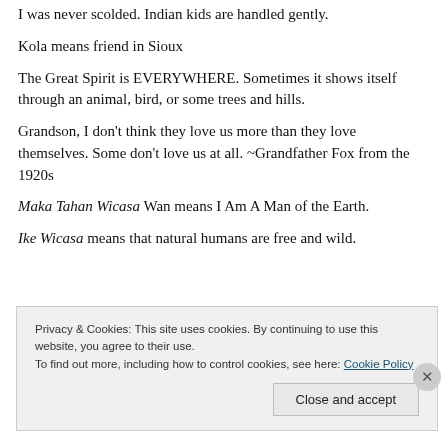I was never scolded. Indian kids are handled gently.
Kola means friend in Sioux
The Great Spirit is EVERYWHERE. Sometimes it shows itself through an animal, bird, or some trees and hills.
Grandson, I don't think they love us more than they love themselves. Some don't love us at all. ~Grandfather Fox from the 1920s
Maka Tahan Wicasa Wan means I Am A Man of the Earth.
Ike Wicasa means that natural humans are free and wild.
Privacy & Cookies: This site uses cookies. By continuing to use this website, you agree to their use. To find out more, including how to control cookies, see here: Cookie Policy